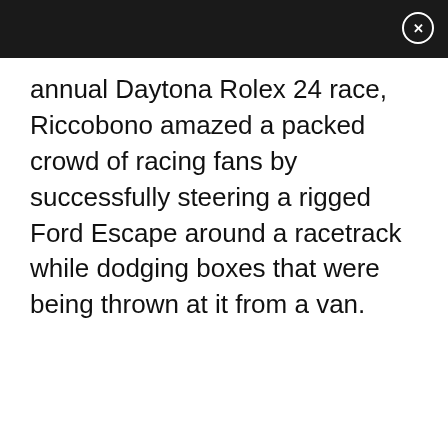annual Daytona Rolex 24 race, Riccobono amazed a packed crowd of racing fans by successfully steering a rigged Ford Escape around a racetrack while dodging boxes that were being thrown at it from a van.